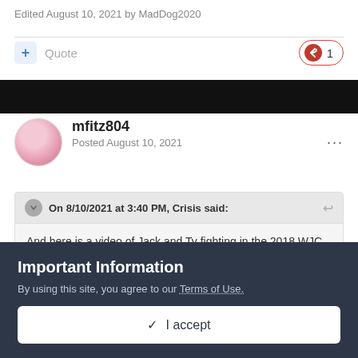Edited August 10, 2021 by MadDog2020
+ Quote  1
[Figure (photo): Dark banner image strip]
mfitz804
Posted August 10, 2021
On 8/10/2021 at 3:40 PM, Crisis said:
And here is a video of Jack and Ty fighting in the 2018 WJC SS
Important Information
By using this site, you agree to our Terms of Use.
✓  I accept